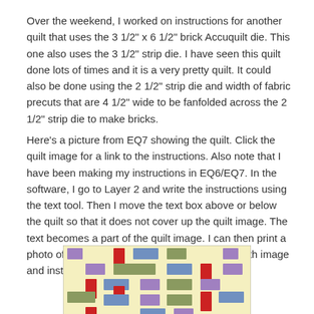Over the weekend, I worked on instructions for another quilt that uses the 3 1/2" x 6 1/2" brick Accuquilt die. This one also uses the 3 1/2" strip die. I have seen this quilt done lots of times and it is a very pretty quilt. It could also be done using the 2 1/2" strip die and width of fabric precuts that are 4 1/2" wide to be fanfolded across the 2 1/2" strip die to make bricks.
Here's a picture from EQ7 showing the quilt. Click the quilt image for a link to the instructions. Also note that I have been making my instructions in EQ6/EQ7. In the software, I go to Layer 2 and write the instructions using the text tool. Then I move the text box above or below the quilt so that it does not cover up the quilt image. The text becomes a part of the quilt image. I can then print a photo of the quilt to an adobe file, and I have both image and instructions in one and it's all on one page!
[Figure (illustration): A quilt pattern image from EQ7 showing a brick/tumbling block quilt design with rectangles in colors: blue/purple, red, green/olive, on a light yellow background, arranged in a repeating pattern.]